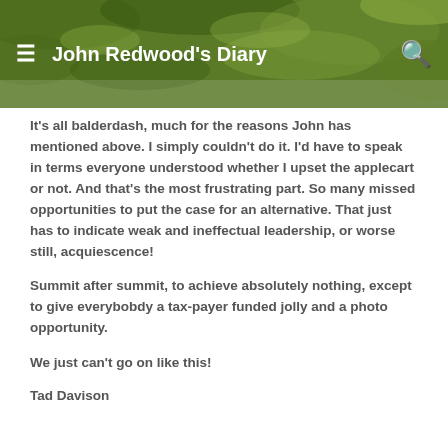John Redwood's Diary
It's all balderdash, much for the reasons John has mentioned above. I simply couldn't do it. I'd have to speak in terms everyone understood whether I upset the applecart or not. And that's the most frustrating part. So many missed opportunities to put the case for an alternative. That just has to indicate weak and ineffectual leadership, or worse still, acquiescence!
Summit after summit, to achieve absolutely nothing, except to give everybobdy a tax-payer funded jolly and a photo opportunity.
We just can't go on like this!
Tad Davison